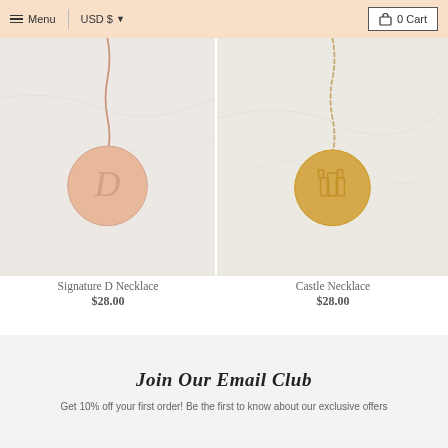Menu  USD $  0 Cart
[Figure (photo): Rose gold necklace with circular disc pendant engraved with stylized letter D, lying on white marble background]
[Figure (photo): Gold necklace with circular disc pendant engraved with castle motif, lying on white marble background]
Signature D Necklace
$28.00
Castle Necklace
$28.00
Join Our Email Club
Get 10% off your first order! Be the first to know about our exclusive offers